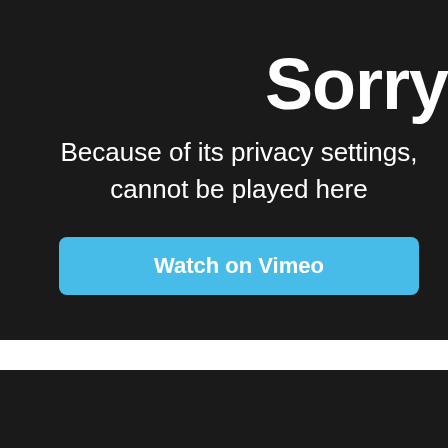Sorry
Because of its privacy settings, cannot be played here
[Figure (screenshot): Vimeo privacy error screen with 'Watch on Vimeo' button on dark background]
[Figure (screenshot): Second dark panel at the bottom of the page]